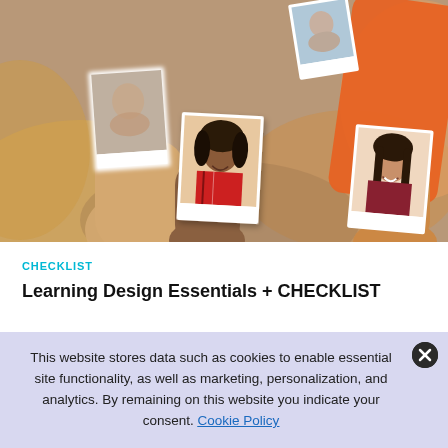[Figure (photo): Hands holding up polaroid-style ID photos of multiple people against a warm blurred background]
CHECKLIST
Learning Design Essentials + CHECKLIST
This website stores data such as cookies to enable essential site functionality, as well as marketing, personalization, and analytics. By remaining on this website you indicate your consent. Cookie Policy